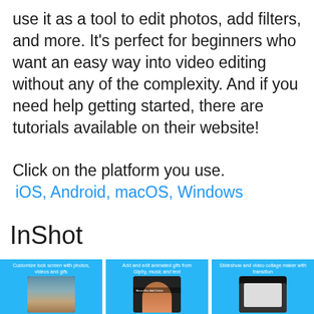use it as a tool to edit photos, add filters, and more. It's perfect for beginners who want an easy way into video editing without any of the complexity. And if you need help getting started, there are tutorials available on their website!
Click on the platform you use.
 iOS, Android, macOS, Windows
InShot
[Figure (screenshot): Three InShot app screenshots: (1) Customize lock screen with photos, videos and gifs, (2) Add and edit animated gifs from Giphy, music and text, (3) Slideshow and video collage maker with transition]